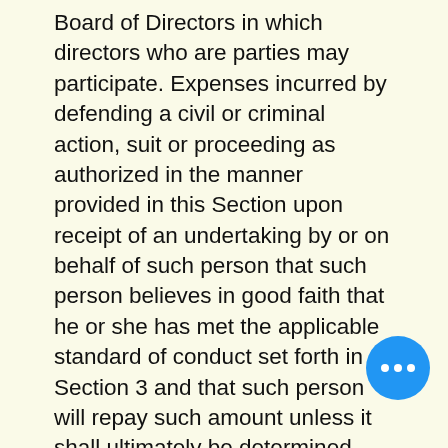Board of Directors in which directors who are parties may participate. Expenses incurred by defending a civil or criminal action, suit or proceeding as authorized in the manner provided in this Section upon receipt of an undertaking by or on behalf of such person that such person believes in good faith that he or she has met the applicable standard of conduct set forth in Section 3 and that such person will repay such amount unless it shall ultimately be determined that he or she is entitled to be indemnified as authorized herein. The indemnification and advancement of expenses provided herein shall not be exclusive of any other rights to which those seeking indemnification or advancement of expenses may be entitled under any provision of Article of Incorporation or Bylaws, any agreement, any vote of